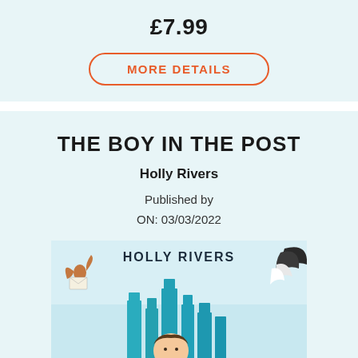£7.99
[Figure (other): MORE DETAILS button with orange rounded border]
THE BOY IN THE POST
Holly Rivers
Published by
ON: 03/03/2022
[Figure (photo): Book cover of 'The Boy in the Post' by Holly Rivers showing a boy, bat, eagle/bird with wings, and teal city buildings against a light blue sky background]